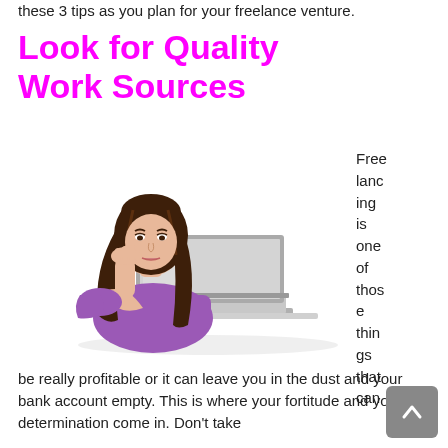these 3 tips as you plan for your freelance venture.
Look for Quality Work Sources
[Figure (photo): Young woman with long brown hair leaning her chin on her hand, looking bored or tired at a laptop computer, wearing a purple short-sleeve top, isolated on white background]
Freelancing is one of those things that can be really profitable or it can leave you in the dust and your bank account empty. This is where your fortitude and your determination come in. Don't take
for granted. You will need to be the t...